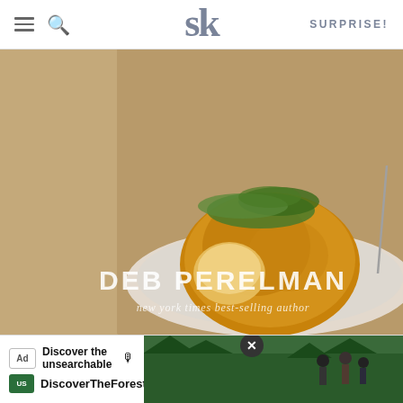SK — SURPRISE!
[Figure (photo): A cookbook by Deb Perelman (New York Times best-selling author) shown as a 3D book with food photo on cover — a frittata or potato dish on white plates with greens, on wooden surface]
AS AN AMAZON ASSOCIATE I EARN FROM QUALIFYING PURCHASES.
©2009–2022 SMITTEN KITCHEN. PROUDLY POWERED BY WORDPRESS. HOSTED BY PRESSABLE.
[Figure (screenshot): Ad banner: Discover the unsearchable — DiscoverTheForest.org with forest photo and icons]